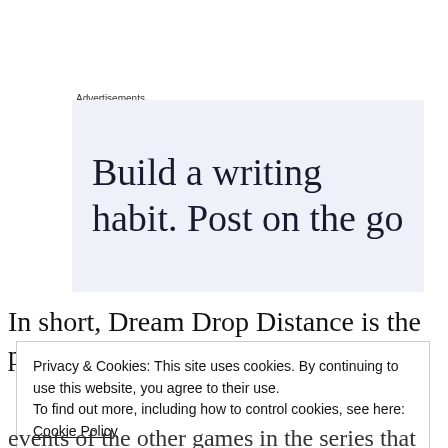Advertisements
[Figure (other): Advertisement banner with light blue background showing text 'Build a writing habit. Post on the go']
In short, Dream Drop Distance is the pin that
Privacy & Cookies: This site uses cookies. By continuing to use this website, you agree to their use.
To find out more, including how to control cookies, see here: Cookie Policy
Close and accept
events of the other games in the series that